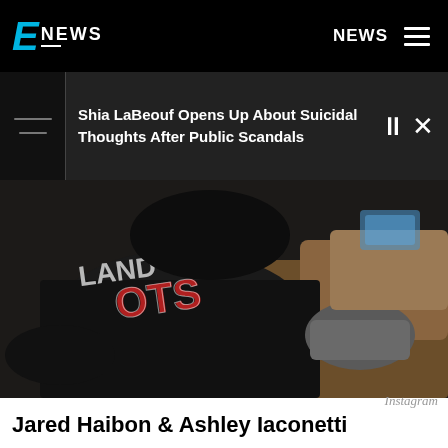E! NEWS — NEWS
Shia LaBeouf Opens Up About Suicidal Thoughts After Public Scandals
[Figure (photo): Photo of two people sitting on a couch, one wearing a dark New England Patriots hoodie, taken from a low angle. Image appears to be a selfie gone wrong.]
Instagram
Jared Haibon & Ashley Iaconetti
Jared jokes, "Sneezing our way into 2021. Tried taking a selfie. Ashley of course sneezed. This is the result. Happy New Year from the Haibon's."